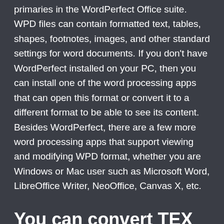primaries in the WordPerfect Office suite. WPD files can contain formatted text, tables, shapes, footnotes, images, and other standard settings for word documents. If you don't have WordPerfect installed on your PC, then you can install one of the word processing apps that can open this format or convert it to a different format to be able to see its content. Besides WordPerfect, there are a few more word processing apps that support viewing and modifying WPD format, whether you are Windows or Mac user such as Microsoft Word, LibreOffice Writer, NeoOffice, Canvas X, etc.
You can convert TEX to file other than WPD using this